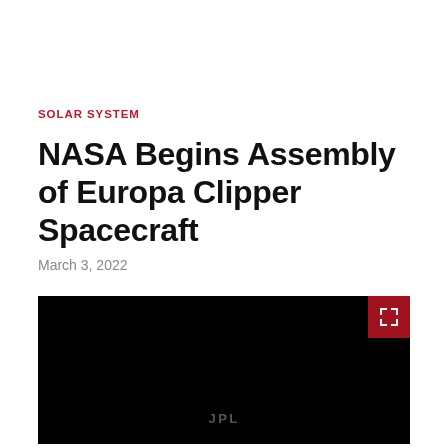SOLAR SYSTEM
NASA Begins Assembly of Europa Clipper Spacecraft
March 3, 2022
[Figure (screenshot): Black video player frame with JPL logo watermark at bottom center and a red expand button in the top-right corner]